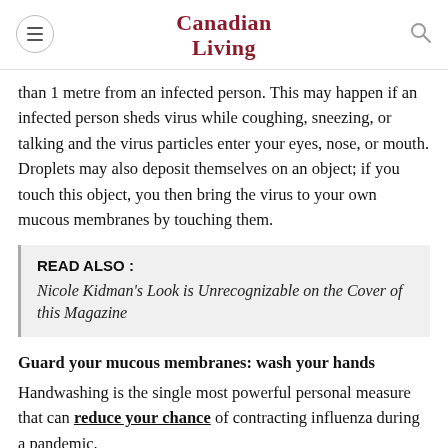Canadian Living
than 1 metre from an infected person. This may happen if an infected person sheds virus while coughing, sneezing, or talking and the virus particles enter your eyes, nose, or mouth. Droplets may also deposit themselves on an object; if you touch this object, you then bring the virus to your own mucous membranes by touching them.
READ ALSO : Nicole Kidman's Look is Unrecognizable on the Cover of this Magazine
Guard your mucous membranes: wash your hands
Handwashing is the single most powerful personal measure that can reduce your chance of contracting influenza during a pandemic.